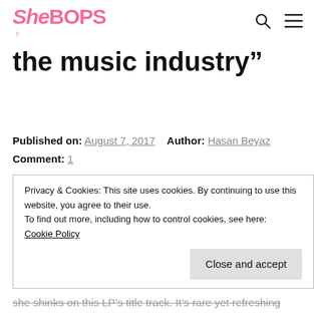SheBOPS
the music industry”
Published on: August 7, 2017   Author: Hasan Beyaz
Comment: 1
Eloise is the deep, richly voiced British vocalist flagged by Clash as “a prodigal pop talent” and The Telegraph as a “need-to-know emerging artist”. Despite only being 18, the
Privacy & Cookies: This site uses cookies. By continuing to use this website, you agree to their use.
To find out more, including how to control cookies, see here:
Cookie Policy
Close and accept
she shinks on this LP’s title track. It’s rare yet refreshing